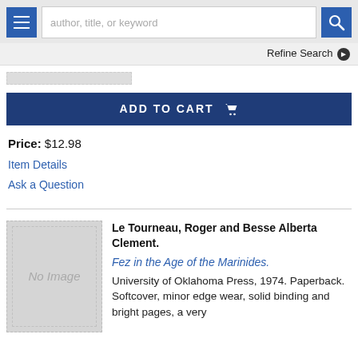author, title, or keyword
Refine Search
[Figure (other): Dotted placeholder image strip]
ADD TO CART
Price: $12.98
Item Details
Ask a Question
[Figure (illustration): No Image placeholder for book cover]
Le Tourneau, Roger and Besse Alberta Clement.
Fez in the Age of the Marinides.
University of Oklahoma Press, 1974. Paperback. Softcover, minor edge wear, solid binding and bright pages, a very